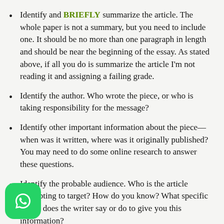Identify and BRIEFLY summarize the article. The whole paper is not a summary, but you need to include one. It should be no more than one paragraph in length and should be near the beginning of the essay. As stated above, if all you do is summarize the article I'm not reading it and assigning a failing grade.
Identify the author. Who wrote the piece, or who is taking responsibility for the message?
Identify other important information about the piece—when was it written, where was it originally published? You may need to do some online research to answer these questions.
Identify the probable audience. Who is the article attempting to target? How do you know? What specific things does the writer say or do to give you this information?
Identify the purpose. What is the central goal of the